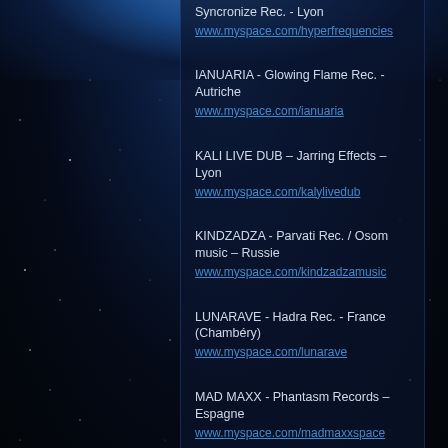Syncronize Rec. - Lyon
www.myspace.com/hyperfrequencies
IANUARIA - Glowing Flame Rec. - Autriche
www.myspace.com/ianuaria
KALI LIVE DUB – Jarring Effects – Lyon
www.myspace.com/kalylivedub
KINDZADZA - Parvati Rec. / Osom music – Russie
www.myspace.com/kindzadzamusic
LUNARAVE - Hadra Rec. - France (Chambéry)
www.myspace.com/lunarave
MAD MAXX - Phantasm Records – Espagne
www.myspace.com/madmaxxspace
MR PECULIAR - Sonic Dragon - Australie
www.myspace.com/mrpeculiar
OCCY - Hadra Rec. - France (Grenoble)
Myspace.com/occymusic